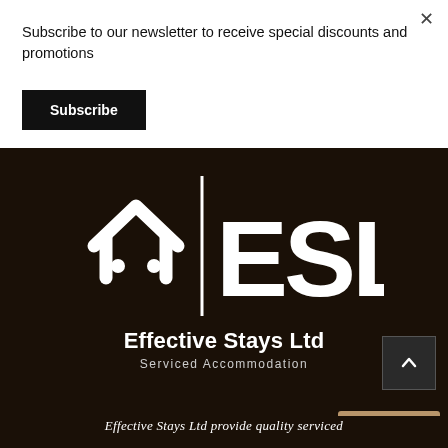Subscribe to our newsletter to receive special discounts and promotions
Subscribe
[Figure (logo): ESL Effective Stays Ltd logo — white house/building icon with stylized face, vertical divider, and bold white letters 'ESL' on dark brown background. Below: 'Effective Stays Ltd' in bold white and 'Serviced Accommodation' in lighter smaller text.]
Effective Stays Ltd provide quality serviced...